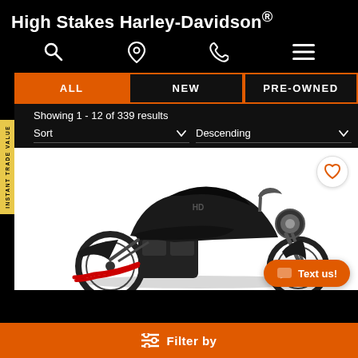High Stakes Harley-Davidson®
[Figure (screenshot): Mobile website navigation icons: search, location pin, phone, hamburger menu]
INSTANT TRADE VALUE
ALL | NEW | PRE-OWNED (tab navigation, ALL selected)
Showing 1 - 12 of 339 results
Sort  ▾   Descending  ▾
[Figure (photo): Black Harley-Davidson motorcycle (Sportster Iron style) on white background, side/front angle view. Heart/favorite button in top right corner.]
Text us!
≡ Filter by